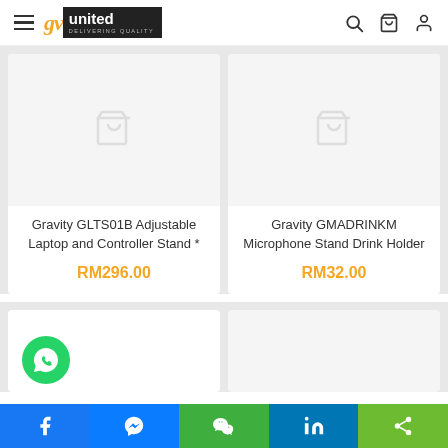GV United — delivering quality
[Figure (screenshot): Product card: Gravity GLTS01B Adjustable Laptop and Controller Stand, price RM296.00]
[Figure (screenshot): Product card: Gravity GMADRINKM Microphone Stand Drink Holder, price RM32.00]
[Figure (screenshot): Partial product card bottom left with WhatsApp button]
[Figure (screenshot): Partial product card bottom right]
Facebook | Messenger | WeChat | LinkedIn | Share